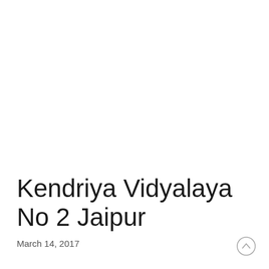Kendriya Vidyalaya No 2 Jaipur
March 14, 2017